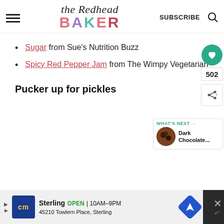the Redhead BAKER — SUBSCRIBE
Sugar from Sue's Nutrition Buzz
Spicy Red Pepper Jam from The Wimpy Vegetarian
Pucker up for pickles
[Figure (screenshot): Heart/like button showing 502 likes and a share button on the right side of the page]
[Figure (screenshot): What's Next widget showing Dark Chocolate... with a thumbnail image]
[Figure (screenshot): Advertisement bar for cm Sterling store: OPEN 10AM-9PM, 45210 Towlern Place, Sterling]